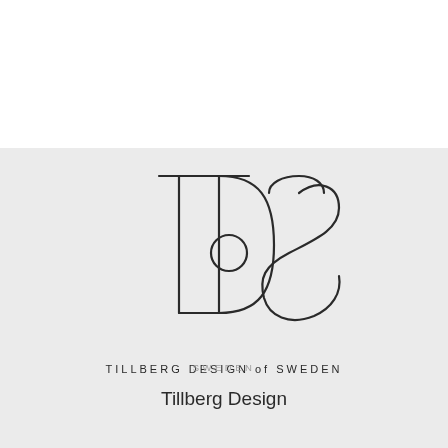[Figure (logo): TDS monogram logo for Tillberg Design of Sweden — stylized letters T, D, S interlinked with thin lines and a small circle, above text TILLBERG DESIGN of SWEDEN]
SWEDEN
Tillberg Design